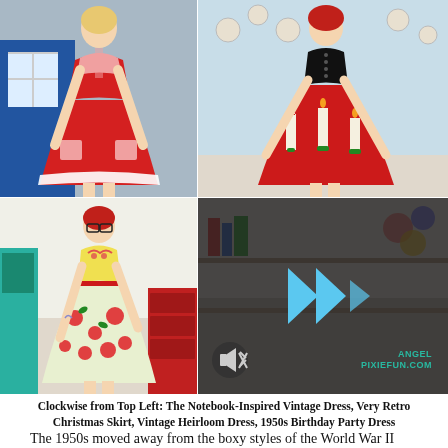[Figure (photo): Four photos of vintage-style dresses arranged in a 2x2 grid. Top-left: woman in red halter dress with white lace hem outside blue building. Top-right: woman in black top and red circle skirt with candle appliques. Bottom-left: woman in yellow floral dress with red belt in colorful room. Bottom-right: partially visible photo overlaid with a dark video player overlay showing blue play icons and brand text 'ANGEL PIXIEFUN.COM'.]
Clockwise from Top Left: The Notebook-Inspired Vintage Dress, Very Retro Christmas Skirt, Vintage Heirloom Dress, 1950s Birthday Party Dress
The 1950s moved away from the boxy styles of the World War II era, opting for high fitted waist